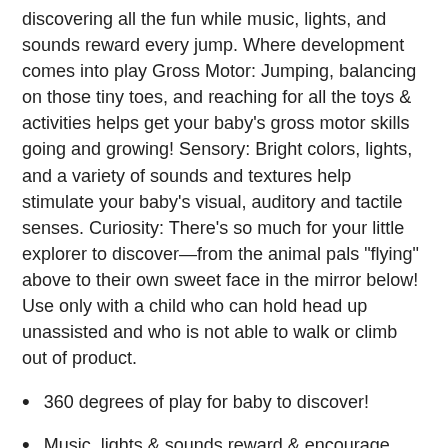discovering all the fun while music, lights, and sounds reward every jump. Where development comes into play Gross Motor: Jumping, balancing on those tiny toes, and reaching for all the toys & activities helps get your baby's gross motor skills going and growing! Sensory: Bright colors, lights, and a variety of sounds and textures help stimulate your baby's visual, auditory and tactile senses. Curiosity: There's so much for your little explorer to discover—from the animal pals "flying" above to their own sweet face in the mirror below! Use only with a child who can hold head up unassisted and who is not able to walk or climb out of product.
360 degrees of play for baby to discover!
Music, lights & sounds reward & encourage every bounce & jump
Easily adjusts to 3 different heights as your baby grows
Safety features include a sturdy flat & two non-slip feet with...